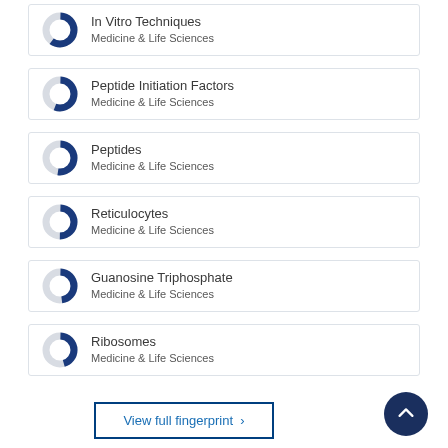In Vitro Techniques — Medicine & Life Sciences
Peptide Initiation Factors — Medicine & Life Sciences
Peptides — Medicine & Life Sciences
Reticulocytes — Medicine & Life Sciences
Guanosine Triphosphate — Medicine & Life Sciences
Ribosomes — Medicine & Life Sciences
View full fingerprint ›